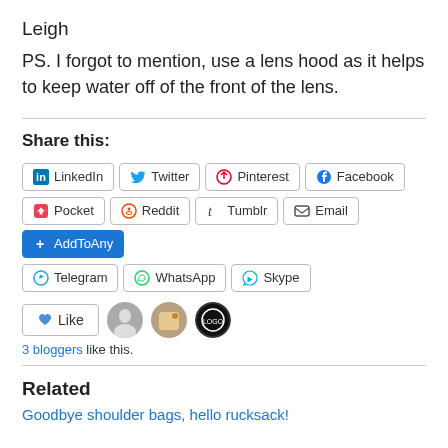Leigh
PS. I forgot to mention, use a lens hood as it helps to keep water off of the front of the lens.
Share this:
LinkedIn | Twitter | Pinterest | Facebook | Pocket | Reddit | Tumblr | Email | AddToAny | Telegram | WhatsApp | Skype
3 bloggers like this.
Related
Goodbye shoulder bags, hello rucksack!